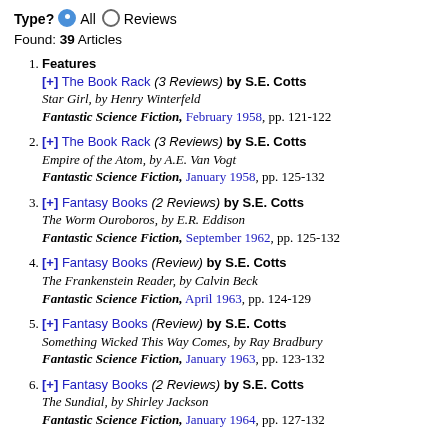Type? ● All ○ Reviews
Found: 39 Articles
1. Features [+] The Book Rack (3 Reviews) by S.E. Cotts
Star Girl, by Henry Winterfeld
Fantastic Science Fiction, February 1958, pp. 121-122
2. [+] The Book Rack (3 Reviews) by S.E. Cotts
Empire of the Atom, by A.E. Van Vogt
Fantastic Science Fiction, January 1958, pp. 125-132
3. [+] Fantasy Books (2 Reviews) by S.E. Cotts
The Worm Ouroboros, by E.R. Eddison
Fantastic Science Fiction, September 1962, pp. 125-132
4. [+] Fantasy Books (Review) by S.E. Cotts
The Frankenstein Reader, by Calvin Beck
Fantastic Science Fiction, April 1963, pp. 124-129
5. [+] Fantasy Books (Review) by S.E. Cotts
Something Wicked This Way Comes, by Ray Bradbury
Fantastic Science Fiction, January 1963, pp. 123-132
6. [+] Fantasy Books (2 Reviews) by S.E. Cotts
The Sundial, by Shirley Jackson
Fantastic Science Fiction, January 1964, pp. 127-132